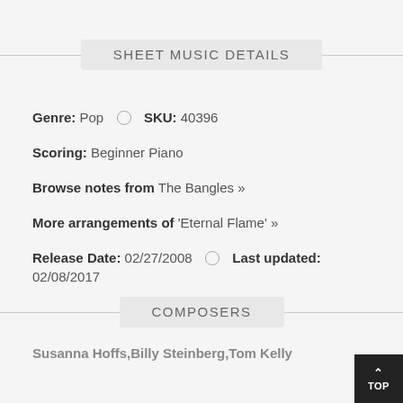SHEET MUSIC DETAILS
Genre: Pop  SKU: 40396
Scoring: Beginner Piano
Browse notes from The Bangles »
More arrangements of 'Eternal Flame' »
Release Date: 02/27/2008  Last updated: 02/08/2017
COMPOSERS
Susanna Hoffs,Billy Steinberg,Tom Kelly